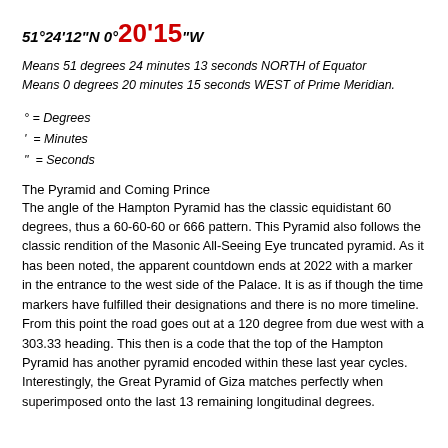51°24'12"N 0°20'15"W
Means 51 degrees 24 minutes 13 seconds NORTH of Equator
Means 0 degrees 20 minutes 15 seconds WEST of Prime Meridian.
° = Degrees
' = Minutes
" = Seconds
The Pyramid and Coming Prince
The angle of the Hampton Pyramid has the classic equidistant 60 degrees, thus a 60-60-60 or 666 pattern. This Pyramid also follows the classic rendition of the Masonic All-Seeing Eye truncated pyramid. As it has been noted, the apparent countdown ends at 2022 with a marker in the entrance to the west side of the Palace. It is as if though the time markers have fulfilled their designations and there is no more timeline. From this point the road goes out at a 120 degree from due west with a 303.33 heading. This then is a code that the top of the Hampton Pyramid has another pyramid encoded within these last year cycles. Interestingly, the Great Pyramid of Giza matches perfectly when superimposed onto the last 13 remaining longitudinal degrees.